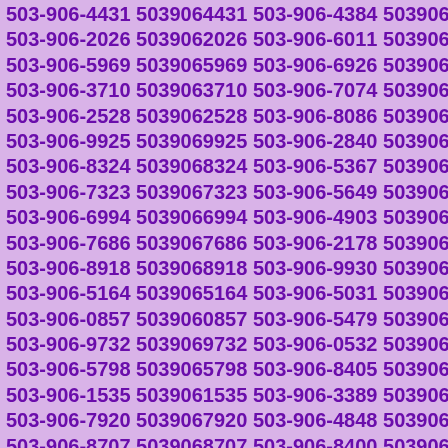503-906-4431 5039064431 503-906-4384 5039064384 503-906-2026 5039062026 503-906-6011 5039066011 503-906-5969 5039065969 503-906-6926 5039066926 503-906-3710 5039063710 503-906-7074 5039067074 503-906-2528 5039062528 503-906-8086 5039068086 503-906-9925 5039069925 503-906-2840 5039062840 503-906-8324 5039068324 503-906-5367 5039065367 503-906-7323 5039067323 503-906-5649 5039065649 503-906-6994 5039066994 503-906-4903 5039064903 503-906-7686 5039067686 503-906-2178 5039062178 503-906-8918 5039068918 503-906-9930 5039069930 503-906-5164 5039065164 503-906-5031 5039065031 503-906-0857 5039060857 503-906-5479 5039065479 503-906-9732 5039069732 503-906-0532 5039060532 503-906-5798 5039065798 503-906-8405 5039068405 503-906-1535 5039061535 503-906-3389 5039063389 503-906-7920 5039067920 503-906-4848 5039064848 503-906-8707 5039068707 503-906-8400 5039068400 503-906-7798 5039067798 503-906-5508 5039065508 503-906-8635 5039068635 503-906-5182 5039065182